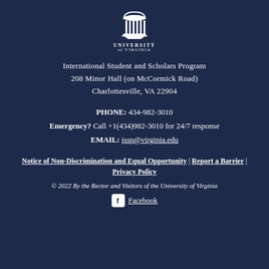[Figure (logo): University of Virginia logo with rotunda and text 'UNIVERSITY of VIRGINIA' in white on dark navy background]
International Student and Scholars Program
208 Minor Hall (on McCormick Road)
Charlottesville, VA 22904
PHONE: 434-982-3010
Emergency? Call +1(434)982-3010 for 24/7 response
EMAIL: issp@virginia.edu
Notice of Non-Discrimination and Equal Opportunity | Report a Barrier | Privacy Policy
© 2022 By the Rector and Visitors of the University of Virginia
Facebook